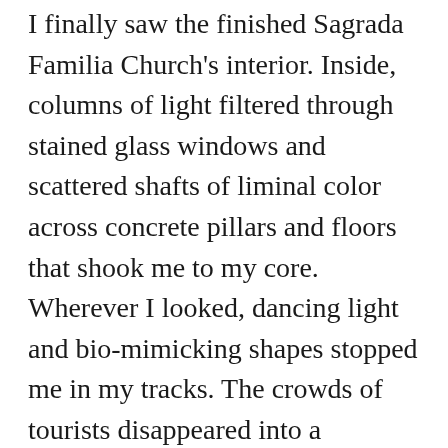I finally saw the finished Sagrada Familia Church's interior. Inside, columns of light filtered through stained glass windows and scattered shafts of liminal color across concrete pillars and floors that shook me to my core. Wherever I looked, dancing light and bio-mimicking shapes stopped me in my tracks. The crowds of tourists disappeared into a mystical hush of intense reverie.
In Texas, I was floored by the ascetic white building “Austin” on the University of Texas campus that was designed by artist Ellsworth Kelly. The simplicity of his austere barrel-